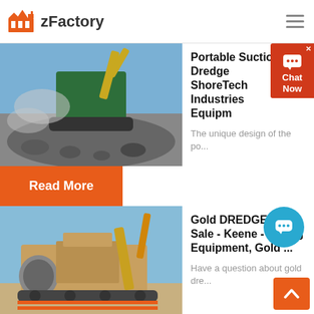zFactory
[Figure (photo): Industrial mining/crushing equipment with rocks being processed, dust rising, blue sky background]
Portable Suction Dredge ShoreTech Industries Equipm...
The unique design of the po...
Read More
[Figure (photo): Yellow/tan industrial mining equipment — gold dredge or similar processing machine against blue sky]
Gold DREDGES for Sale - Keene - Mining Equipment, Gold ...
Have a question about gold dre...